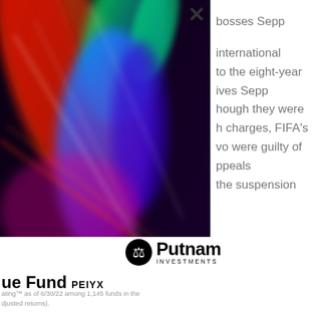[Figure (photo): Abstract colorful light streaks and neon wave patterns on dark background — decorative financial fund promotional image]
bosses Sepp

 international
 to the eight-year
 ives Sepp
 hough they were
 h charges, FIFA's
 vo were guilty of
 ppeals
 the suspension
[Figure (logo): Putnam Investments logo with scales of justice icon]
ue Fund PEIYX
ating™ as of 6/30/22 among 1,145 funds in the
djusted returns).